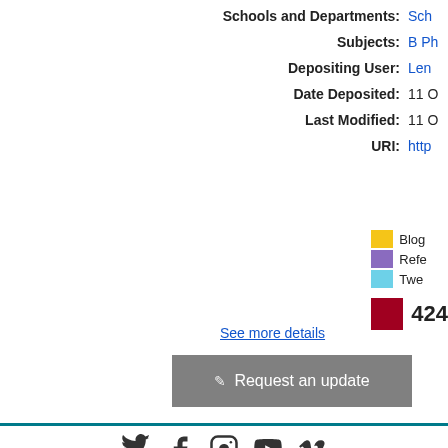Schools and Departments: Sch...
Subjects: B Ph...
Depositing User: Len...
Date Deposited: 11 O...
Last Modified: 11 O...
URI: http...
[Figure (infographic): Altmetric legend showing colored squares for Blog (yellow), References (purple), Tweets (light blue), and a score of 424 in dark red]
See more details
Request an update
University of Sussex